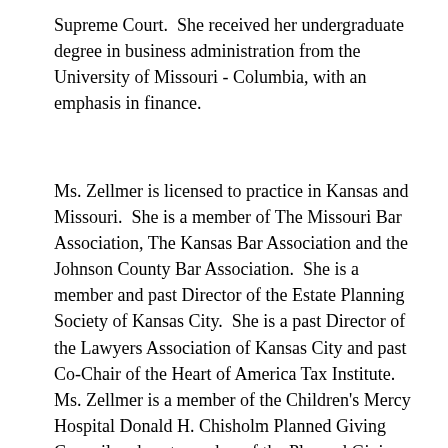Supreme Court.  She received her undergraduate degree in business administration from the University of Missouri - Columbia, with an emphasis in finance.
Ms. Zellmer is licensed to practice in Kansas and Missouri.  She is a member of The Missouri Bar Association, The Kansas Bar Association and the Johnson County Bar Association.  She is a member and past Director of the Estate Planning Society of Kansas City.  She is a past Director of the Lawyers Association of Kansas City and past Co-Chair of the Heart of America Tax Institute.  Ms. Zellmer is a member of the Children's Mercy Hospital Donald H. Chisholm Planned Giving Council and past member of the Planned Giving